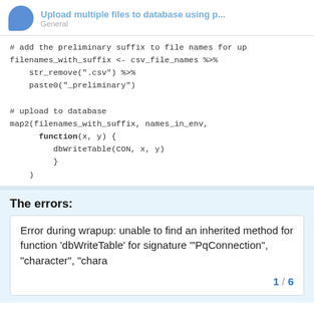Upload multiple files to database using p... General
# add the preliminary suffix to file names for up
filenames_with_suffix <- csv_file_names %>%
    str_remove(".csv") %>%
    paste0("_preliminary")

# upload to database
map2(filenames_with_suffix, names_in_env,
      function(x, y) {
        dbWriteTable(CON, x, y)
        }
    )
The errors:
Error during wrapup: unable to find an inherited method for function 'dbWriteTable' for signature '"PqConnection", "character", "chara... 1 / 6